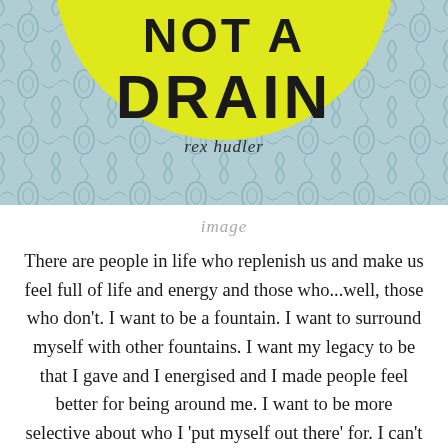[Figure (photo): Book cover of 'Fountain or Drain' by Rex Hudler. Features a large yellow circle on a blue damask patterned background. Text on cover reads 'NOT A DRAIN' at top and 'rex hudler' as author name.]
image
There are people in life who replenish us and make us feel full of life and energy and those who...well, those who don't. I want to be a fountain. I want to surround myself with other fountains. I want my legacy to be that I gave and I energised and I made people feel better for being around me. I want to be more selective about who I 'put myself out there' for. I can't let myself become an empty vessel trying to please the 'wrong' people. Self care is